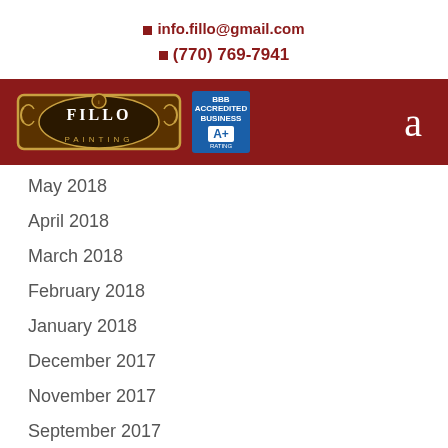info.fillo@gmail.com
(770) 769-7941
[Figure (logo): Fillo Painting logo with ornate border and BBB A+ rating badge, on dark red navigation bar with letter 'a' icon on right]
May 2018
April 2018
March 2018
February 2018
January 2018
December 2017
November 2017
September 2017
August 2017
July 2017